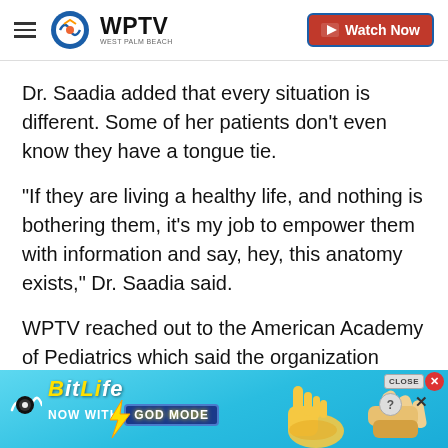WPTV — Watch Now
Dr. Saadia added that every situation is different. Some of her patients don't even know they have a tongue tie.
"If they are living a healthy life, and nothing is bothering them, it's my job to empower them with information and say, hey, this anatomy exists," Dr. Saadia said.
WPTV reached out to the American Academy of Pediatrics which said the organization does not have an official recommendation or policy on the lip and
[Figure (screenshot): BitLife advertisement banner at the bottom — 'NOW WITH GOD MODE' on a light blue background with thumbs-up emoji art and close button]